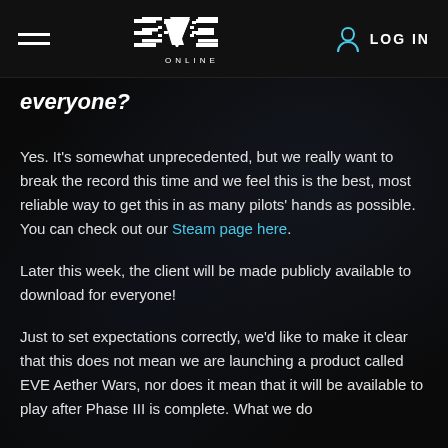EVE Online — LOG IN
everyone?
Yes. It's somewhat unprecedented, but we really want to break the record this time and we feel this is the best, most reliable way to get this in as many pilots' hands as possible. You can check out our Steam page here.
Later this week, the client will be made publicly available to download for everyone!
Just to set expectations correctly, we'd like to make it clear that this does not mean we are launching a product called EVE Aether Wars, nor does it mean that it will be available to play after Phase III is complete. What we do